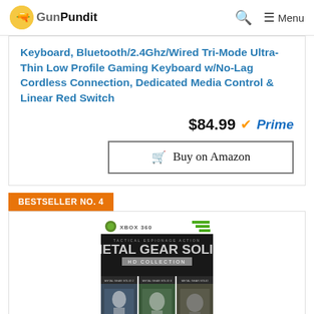GunPundit
Keyboard, Bluetooth/2.4Ghz/Wired Tri-Mode Ultra-Thin Low Profile Gaming Keyboard w/No-Lag Cordless Connection, Dedicated Media Control & Linear Red Switch
$84.99 Prime
Buy on Amazon
BESTSELLER NO. 4
[Figure (photo): Metal Gear Solid HD Collection game box for Xbox 360]